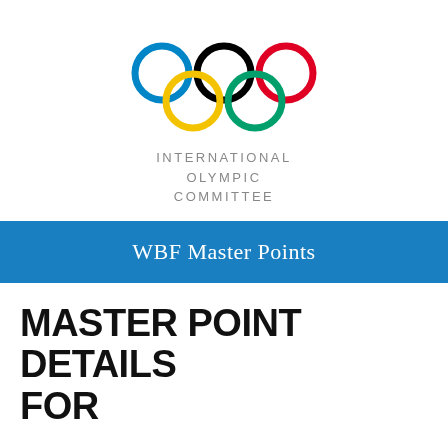[Figure (logo): International Olympic Committee logo: five interlocking Olympic rings (blue, black, red, yellow, green) above the text INTERNATIONAL OLYMPIC COMMITTEE in gray uppercase letters]
WBF Master Points
MASTER POINT DETAILS FOR
1997 Transnational Open Teams - Tunisia